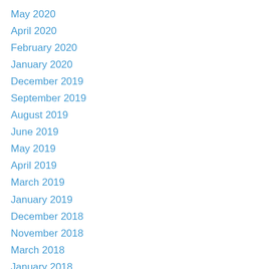May 2020
April 2020
February 2020
January 2020
December 2019
September 2019
August 2019
June 2019
May 2019
April 2019
March 2019
January 2019
December 2018
November 2018
March 2018
January 2018
November 2017
September 2017
August 2017
July 2017